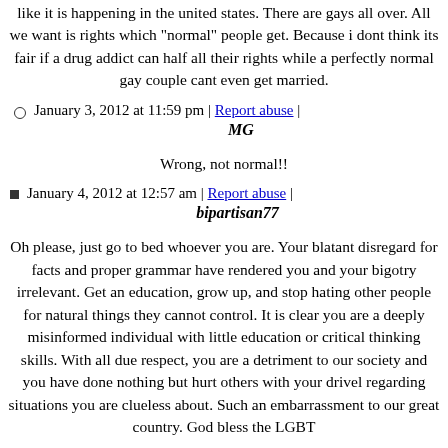like it is happening in the united states. There are gays all over. All we want is rights which "normal" people get. Because i dont think its fair if a drug addict can half all their rights while a perfectly normal gay couple cant even get married.
January 3, 2012 at 11:59 pm | Report abuse | MG
Wrong, not normal!!
January 4, 2012 at 12:57 am | Report abuse | bipartisan77
Oh please, just go to bed whoever you are. Your blatant disregard for facts and proper grammar have rendered you and your bigotry irrelevant. Get an education, grow up, and stop hating other people for natural things they cannot control. It is clear you are a deeply misinformed individual with little education or critical thinking skills. With all due respect, you are a detriment to our society and you have done nothing but hurt others with your drivel regarding situations you are clueless about. Such an embarrassment to our great country. God bless the LGBT